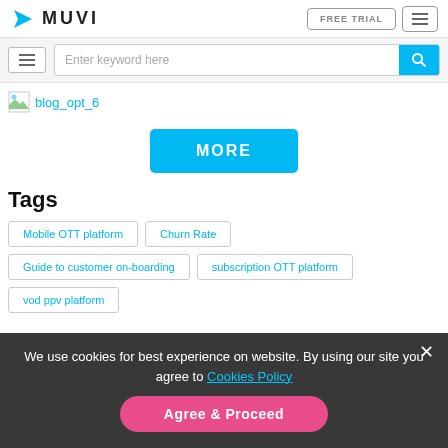MUVI — FREE TRIAL
[Figure (screenshot): Muvi logo with blue angular icon and MUVI text]
[Figure (screenshot): Search bar with 'Enter keyword here' placeholder and cyan search button]
[Figure (illustration): Small thumbnail image icon for blog_opt_6]
blog_opt_6
MORE
Tags
Mobile OTT platform
Churn Rate
Guide to customer on-boarding
subscription OTT platform
vod ppv platform
We use cookies for best experience on website. By using our site you agree to Cookies Policy
Agree & Proceed